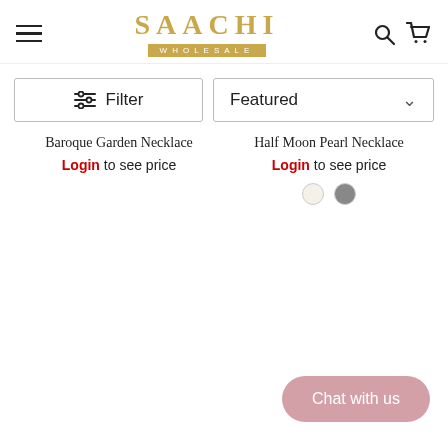SAACHI WHOLESALE
Filter
Featured
Baroque Garden Necklace
Login to see price
Half Moon Pearl Necklace
Login to see price
Chat with us